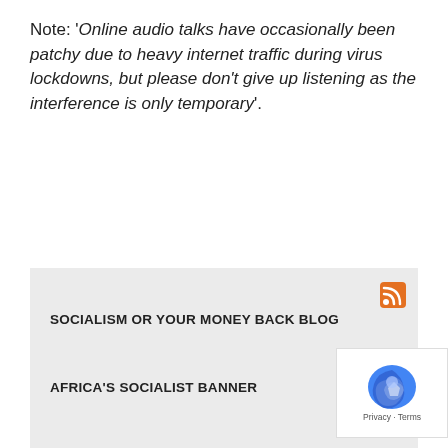Note: 'Online audio talks have occasionally been patchy due to heavy internet traffic during virus lockdowns, but please don't give up listening as the interference is only temporary'.
SOCIALISM OR YOUR MONEY BACK BLOG
Afghani Agony
Our melting world
Russians Against War
Poor Nations Punished
Peru and Gold
AFRICA'S SOCIALIST BANNER